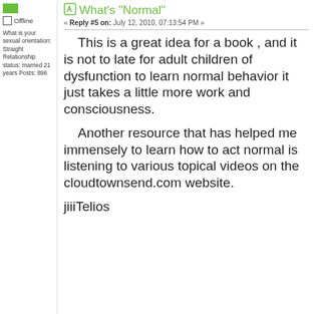What's "Normal"
« Reply #5 on: July 12, 2010, 07:13:54 PM »
Offline
What is your sexual orientation: Straight Relationship status: married 21 years Posts: 896
This is a great idea for a book , and it is not to late for adult children of dysfunction to learn normal behavior it just takes a little more work and consciousness.
Another resource that has helped me immensely to learn how to act normal is listening to various topical videos on the cloudtownsend.com website.
jiiiTelios